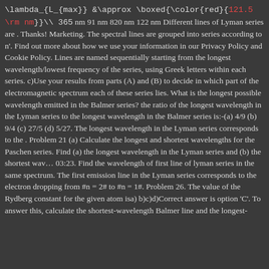\lambda_{L_{max}} &\approx \boxed{\color{red}{121.5 \rm nm}}\\ 365 nm 91 nm 820 nm 122 nm Different lines of Lyman series are . Thanks! Marketing. The spectral lines are grouped into series according to n'. Find out more about how we use your information in our Privacy Policy and Cookie Policy. Lines are named sequentially starting from the longest wavelength/lowest frequency of the series, using Greek letters within each series. c)Use your results from parts (A) and (B) to decide in which part of the electromagnetic spectrum each of these series lies. What is the longest possible wavelength emitted in the Balmer series? the ratio of the longest wavelength in the Lyman series to the longest wavelength in the Balmer series is:-(a) 4/9 (b) 9/4 (c) 27/5 (d) 5/27. The longest wavelength in the Lyman series corresponds to the . Problem 21 (a) Calculate the longest and shortest wavelengths for the Paschen series. Find (a) the longest wavelength in the Lyman series and (b) the shortest wav… 03:23. Find the wavelength of first line of lyman series in the same spectrum. The first emission line in the Lyman series corresponds to the electron dropping from #n = 2# to #n = 1#. Problem 26. The value of the Rydberg constant for the given atom isa) b)c)d)Correct answer is option 'C'. To answer this, calculate the shortest-wavelength Balmer line and the longest-